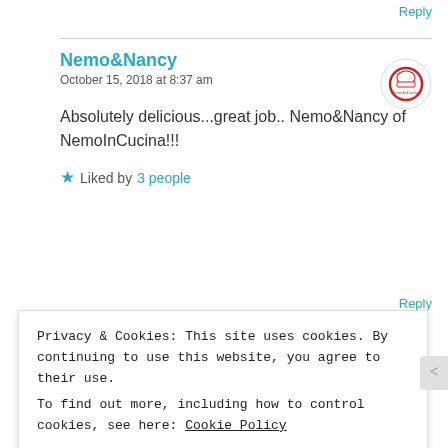Reply
Nemo&Nancy
October 15, 2018 at 8:37 am
[Figure (logo): Circular logo for NemoInCucina with red cursive text on white background]
Absolutely delicious...great job.. Nemo&Nancy of NemoInCucina!!!
★ Liked by 3 people
Reply
Privacy & Cookies: This site uses cookies. By continuing to use this website, you agree to their use.
To find out more, including how to control cookies, see here: Cookie Policy
Close and accept